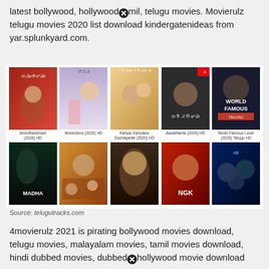latest bollywood, hollywood tamil, telugu movies. Movierulz telugu movies 2020 list download kindergatenideas from yar.splunkyard.com.
[Figure (photo): Grid of 10 Telugu/Bollywood movie posters in two rows: Row 1: Amrutharamam (2020) HD, Bheeshma (2020) HD, Kanulu Kanulanu Dochayante (2020) HD, Aswathama (2020) HD, World Famous Lover (2020) Telugu HD. Row 2: Madha, (Telugu title), (NTR?), NGK, (Sci-fi movie).]
Source: telugutracks.com
4movierulz 2021 is pirating bollywood movies download, telugu movies, malayalam movies, tamil movies download, hindi dubbed movies, dubbed hollywood movie download